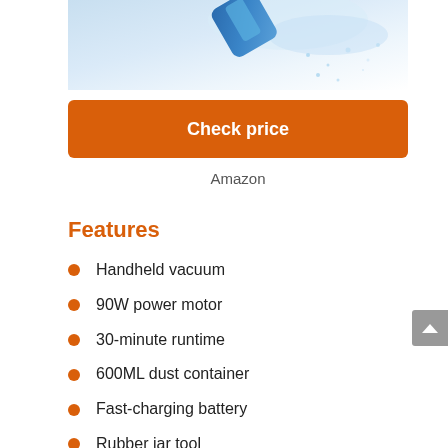[Figure (photo): Partial product image showing a handheld vacuum cleaner with blue and white water/spray background, cropped at top of page]
Check price
Amazon
Features
Handheld vacuum
90W power motor
30-minute runtime
600ML dust container
Fast-charging battery
Rubber jar tool